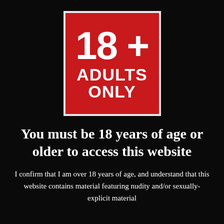[Figure (logo): Red square badge with white border displaying '18+' in large bold text above 'ADULTS ONLY' in bold white capital letters on red background]
You must be 18 years of age or older to access this website
I confirm that I am over 18 years of age, and understand that this website contains material featuring nudity and/or sexually-explicit material